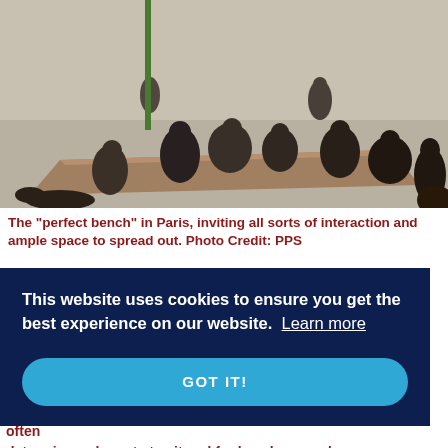[Figure (photo): People sitting and lounging on a large flat wooden platform bench in an outdoor plaza in Paris. Multiple people are seated, lying, and conversing on the wide flat structure.]
The "perfect bench" in Paris, inviting all sorts of interaction and ample space to spread out. Photo Credit: PPS
This website uses cookies to ensure you get the best experience on our website.  Learn more
GOT IT!
ning​rtable
he
often
determines who gets to sit and for how long, and